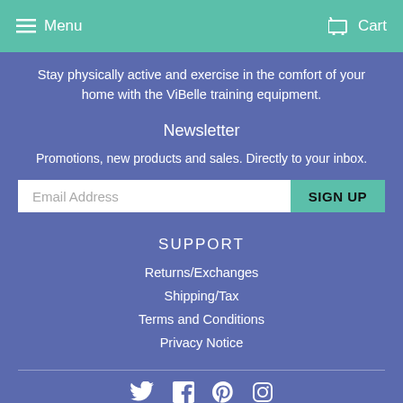Menu | Cart
Stay physically active and exercise in the comfort of your home with the ViBelle training equipment.
Newsletter
Promotions, new products and sales. Directly to your inbox.
Email Address | SIGN UP
SUPPORT
Returns/Exchanges
Shipping/Tax
Terms and Conditions
Privacy Notice
[Figure (infographic): Social media icons: Twitter, Facebook, Pinterest, Instagram]